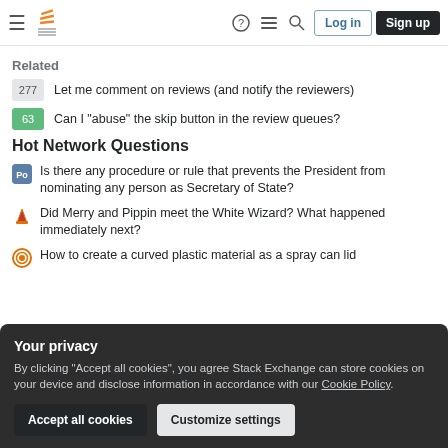Stack Exchange navigation bar with Log in and Sign up buttons
Related
277 — Let me comment on reviews (and notify the reviewers)
63 — Can I "abuse" the skip button in the review queues?
Hot Network Questions
Is there any procedure or rule that prevents the President from nominating any person as Secretary of State?
Did Merry and Pippin meet the White Wizard? What happened immediately next?
How to create a curved plastic material as a spray can lid
Your privacy
By clicking "Accept all cookies", you agree Stack Exchange can store cookies on your device and disclose information in accordance with our Cookie Policy.
Accept all cookies   Customize settings